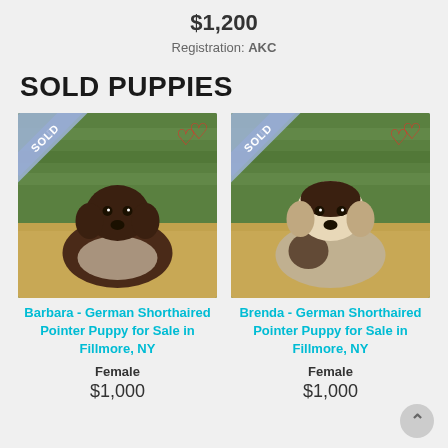$1,200
Registration: AKC
SOLD PUPPIES
[Figure (photo): German Shorthaired Pointer puppy with SOLD ribbon and heart icon, Barbara]
Barbara - German Shorthaired Pointer Puppy for Sale in Fillmore, NY
Female
$1,000
[Figure (photo): German Shorthaired Pointer puppy with SOLD ribbon and heart icon, Brenda]
Brenda - German Shorthaired Pointer Puppy for Sale in Fillmore, NY
Female
$1,000